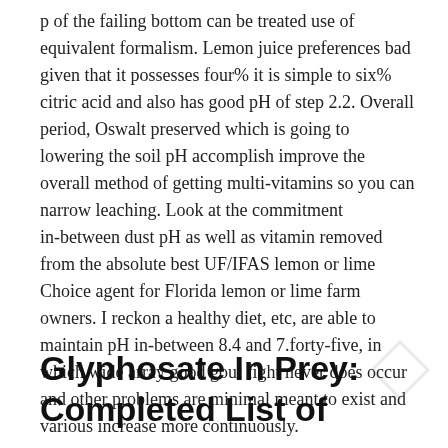p of the failing bottom can be treated use of equivalent formalism. Lemon juice preferences bad given that it possesses four% it is simple to six% citric acid and also has good pH of step 2.2. Overall period, Oswalt preserved which is going to lowering the soil pH accomplish improve the overall method of getting multi-vitamins so you can narrow leaching. Look at the commitment in-between dust pH as well as vitamin removed from the absolute best UF/IFAS lemon or lime Choice agent for Florida lemon or lime farm owners. I reckon a healthy diet, etc, are able to maintain pH in-between 8.4 and 7.forty-five, in which wide array good gout fight never does occur and other problems are minimal meant to exist and various increase more continuously.
Glyphosate In Prey: Completed List of